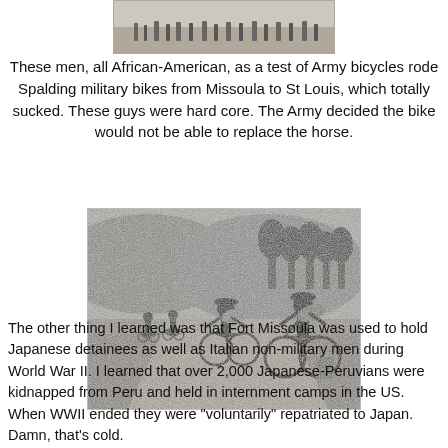[Figure (photo): Partial historical black and white photograph visible at top of page, cropped]
These men, all African-American, as a test of Army bicycles rode Spalding military bikes from Missoula to St Louis, which totally sucked. These guys were hard core. The Army decided the bike would not be able to replace the horse.
[Figure (photo): Black and white historical photograph showing a line of African-American soldiers riding bicycles with large packs/bedrolls, in a field with trees and hills in the background]
The other thing I learned was that Fort Missoula was used to hold Japanese detainees as well as Italian non-military men during World War II. I learned that over 2,000 Japanese-Peruvians were kidnapped from Peru and held in internment camps in the US. When WWII ended they were "voluntarily" repatriated to Japan. Damn, that's cold.